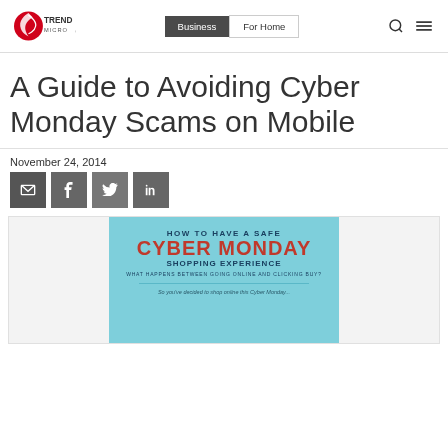Trend Micro | Business | For Home
A Guide to Avoiding Cyber Monday Scams on Mobile
November 24, 2014
[Figure (infographic): Infographic: How to have a safe Cyber Monday shopping experience. What happens between going online and clicking buy?]